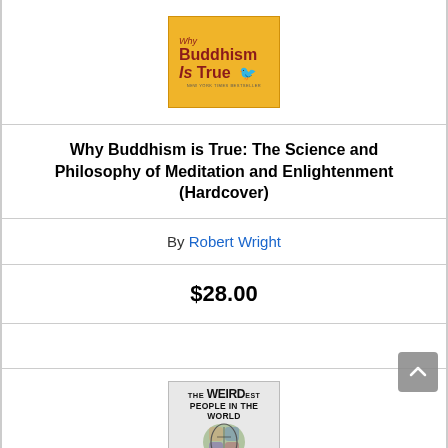[Figure (photo): Book cover of 'Why Buddhism Is True' with yellow/gold background, red text, and a bird illustration]
Why Buddhism is True: The Science and Philosophy of Meditation and Enlightenment (Hardcover)
By Robert Wright
$28.00
[Figure (photo): Book cover of 'The WEIRDest People in the World: How the West Became Psychologically Peculiar and Particularly Prosperous' by Joseph Henrich]
The WEIRDest People in the World: How the West Became Psychologically Peculiar and Particularly Prosperous